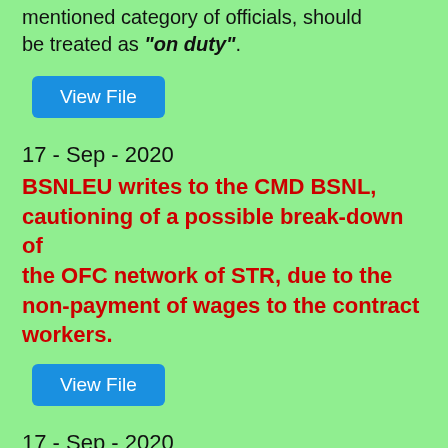mentioned category of officials, should be treated as "on duty".
View File
17 - Sep - 2020
BSNLEU writes to the CMD BSNL, cautioning of a possible break-down of the OFC network of STR, due to the non-payment of wages to the contract workers.
View File
17 - Sep - 2020
BSNLEU demands extension of concessions to the BSNL employees